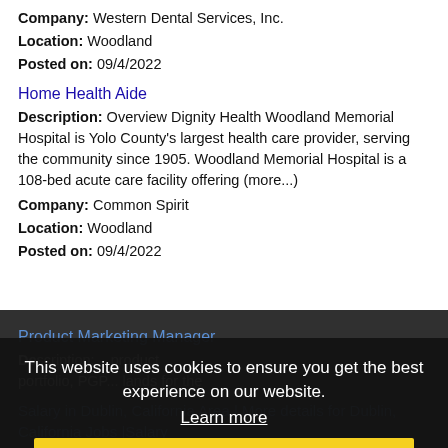Company: Western Dental Services, Inc.
Location: Woodland
Posted on: 09/4/2022
Home Health Aide
Description: Overview Dignity Health Woodland Memorial Hospital is Yolo County's largest health care provider, serving the community since 1905. Woodland Memorial Hospital is a 108-bed acute care facility offering (more...)
Company: Common Spirit
Location: Woodland
Posted on: 09/4/2022
Product Marketing Manager
Description: ...product portfolio, PGP... lands for the various product categories, the
Company: PGP International
Location: Woodland
Posted on: 09/4/2022
This website uses cookies to ensure you get the best experience on our website.
Learn more
Got it!
Salary in Dublin, California Area | More details for Dublin, California Jobs |Salary